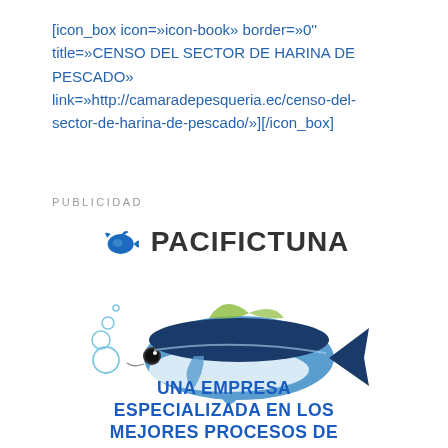[icon_box icon=»icon-book» border=»0'' title=»CENSO DEL SECTOR DE HARINA DE PESCADO» link=»http://camaradepesqueria.ec/censo-del-sector-de-harina-de-pescado/»][/icon_box]
PUBLICIDAD
[Figure (logo): PacificTuna logo with a blue bird/fish icon and the text PACIFICTUNA in dark bold letters]
[Figure (illustration): Illustration of a tuna fish with blue and silver coloring, with bubbles to the left]
UNA EMPRESA ESPECIALIZADA EN LOS MEJORES PROCESOS DE